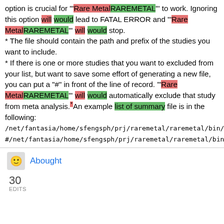option is crucial for '"Rare MetalRAREMETAL"' to work. Ignoring this option will would lead to FATAL ERROR and '"Rare MetalRAREMETAL"' will would stop.
* The file should contain the path and prefix of the studies you want to include.
* If there is one or more studies that you want to excluded from your list, but want to save some effort of generating a new file, you can put a "#" in front of the line of record. '"Rare MetalRAREMETAL"' will would automatically exclude that study from meta analysis.* An example list of summary file is in the following:
/net/fantasia/home/sfengsph/prj/raremetal/raremetal/bin/META
#/net/fantasia/home/sfengsph/prj/raremetal/raremetal/bin/ME
Abought
30
EDITS